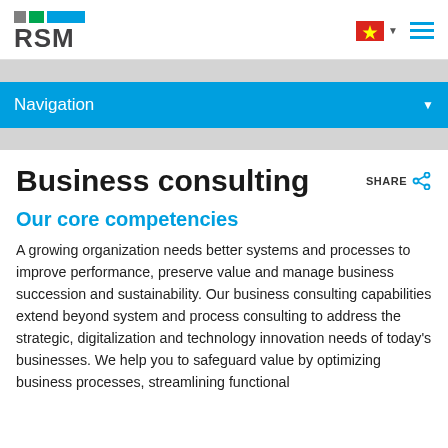RSM
Navigation
Business consulting
Our core competencies
A growing organization needs better systems and processes to improve performance, preserve value and manage business succession and sustainability. Our business consulting capabilities extend beyond system and process consulting to address the strategic, digitalization and technology innovation needs of today's businesses. We help you to safeguard value by optimizing business processes, streamlining functional